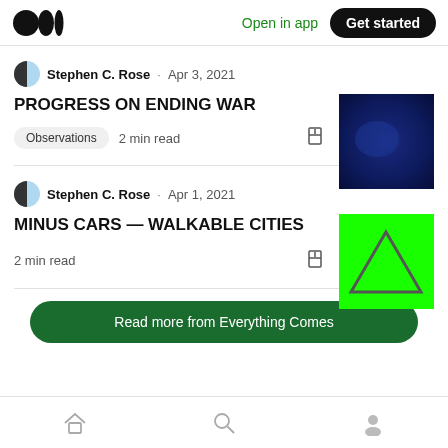Medium logo | Open in app | Get started
Stephen C. Rose · Apr 3, 2021
PROGRESS ON ENDING WAR
Observations  2 min read
[Figure (photo): Dark blue abstract image used as article thumbnail]
Stephen C. Rose · Apr 1, 2021
MINUS CARS — WALKABLE CITIES
2 min read
[Figure (photo): Bright green background with a grey triangle outline used as article thumbnail]
Read more from Everything Comes
Home | Search | Profile